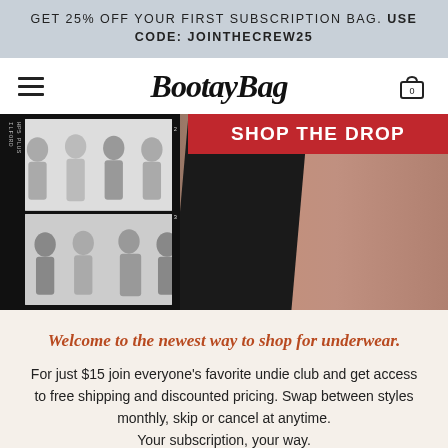GET 25% OFF YOUR FIRST SUBSCRIPTION BAG. USE CODE: JOINTHECREW25
[Figure (logo): BootayBag brand logo in cursive script]
[Figure (photo): Hero banner showing a film strip with women modeling underwear on the left, and a close-up of a woman's torso in black underwear on the right, with a red 'SHOP THE DROP' banner overlay in top right]
Welcome to the newest way to shop for underwear.
For just $15 join everyone's favorite undie club and get access to free shipping and discounted pricing. Swap between styles monthly, skip or cancel at anytime. Your subscription, your way.